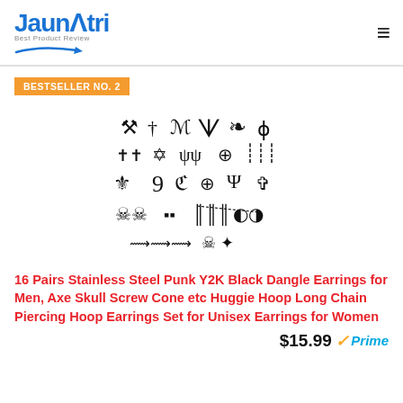Jaunatri — Best Product Review
BESTSELLER NO. 2
[Figure (photo): Product image showing 16 pairs of stainless steel punk Y2K black dangle earrings including axe, skull, screw, cone, huggie hoop, long chain, piercing hoop styles displayed as black silhouettes on white background.]
16 Pairs Stainless Steel Punk Y2K Black Dangle Earrings for Men, Axe Skull Screw Cone etc Huggie Hoop Long Chain Piercing Hoop Earrings Set for Unisex Earrings for Women
$15.99 Prime